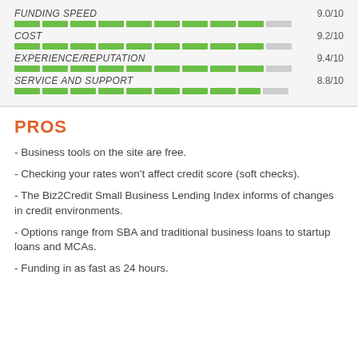[Figure (infographic): Rating bars for FUNDING SPEED (9.0/10), COST (9.2/10), EXPERIENCE/REPUTATION (9.4/10), SERVICE AND SUPPORT (8.8/10) shown as segmented green progress bars]
PROS
- Business tools on the site are free.
- Checking your rates won't affect credit score (soft checks).
- The Biz2Credit Small Business Lending Index informs of changes in credit environments.
- Options range from SBA and traditional business loans to startup loans and MCAs.
- Funding in as fast as 24 hours.